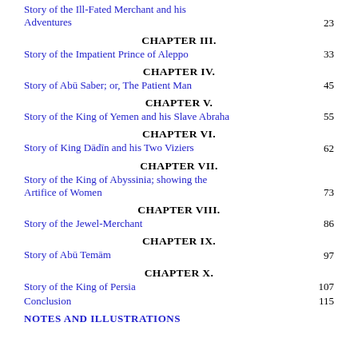Story of the Ill-Fated Merchant and his Adventures ... 23
CHAPTER III.
Story of the Impatient Prince of Aleppo ... 33
CHAPTER IV.
Story of Abū Saber; or, The Patient Man ... 45
CHAPTER V.
Story of the King of Yemen and his Slave Abraha ... 55
CHAPTER VI.
Story of King Dādīn and his Two Viziers ... 62
CHAPTER VII.
Story of the King of Abyssinia; showing the Artifice of Women ... 73
CHAPTER VIII.
Story of the Jewel-Merchant ... 86
CHAPTER IX.
Story of Abū Temām ... 97
CHAPTER X.
Story of the King of Persia ... 107
Conclusion ... 115